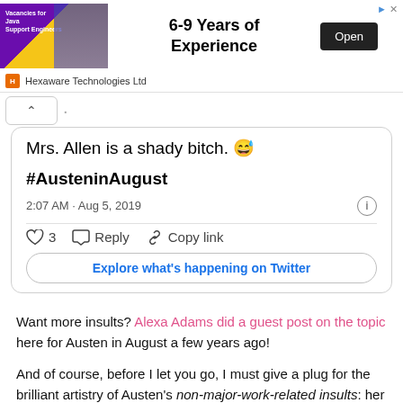[Figure (screenshot): Advertisement banner for Hexaware Technologies Ltd - Java Support Engineers, 6-9 Years of Experience, Open button]
[Figure (screenshot): Tweet screenshot showing: 'Mrs. Allen is a shady bitch. 😅 #AusteninAugust 2:07 AM · Aug 5, 2019' with like (3), Reply, Copy link actions and Explore what's happening on Twitter button]
Want more insults? Alexa Adams did a guest post on the topic here for Austen in August a few years ago!
And of course, before I let you go, I must give a plug for the brilliant artistry of Austen's non-major-work-related insults: her